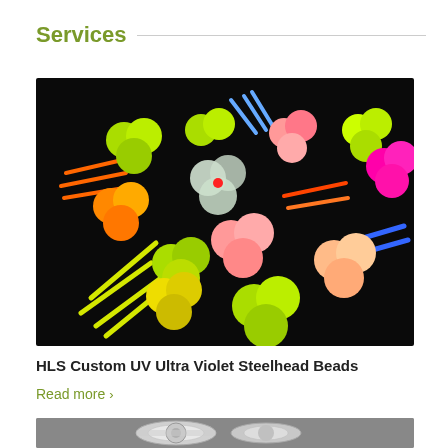Services
[Figure (photo): Colorful UV ultra violet steelhead fishing beads (neon green, orange, pink, yellow) grouped in clusters on a black background, with thin plastic pegs inserted through them.]
HLS Custom UV Ultra Violet Steelhead Beads
Read more >
[Figure (photo): Close-up of a metallic fishing reel or tool showing chrome/silver mechanical components on a textured surface.]